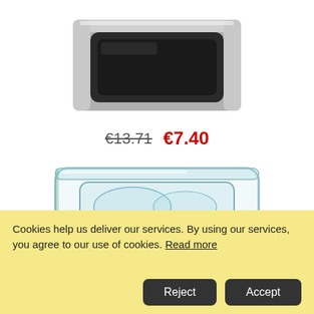[Figure (photo): A stainless steel gastronorm food pan (GN 1/4) viewed from above at an angle, showing a rectangular metal container with rolled edges on a white background.]
€13.71  €7.40
[Figure (photo): A clear polycarbonate/plastic gastronorm food pan lid (GN 1/4) viewed from above at an angle, showing a transparent rectangular container with curved inner sections on a white background.]
Cookies help us deliver our services. By using our services, you agree to our use of cookies. Read more